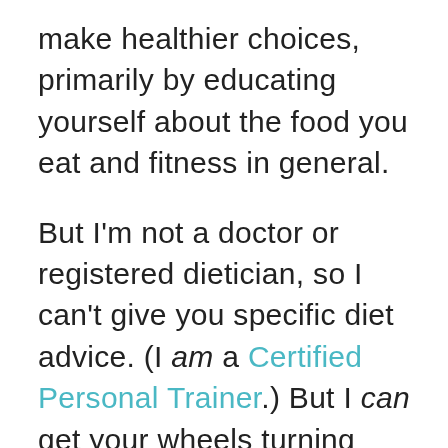make healthier choices, primarily by educating yourself about the food you eat and fitness in general.
But I'm not a doctor or registered dietician, so I can't give you specific diet advice. (I am a Certified Personal Trainer.) But I can get your wheels turning and